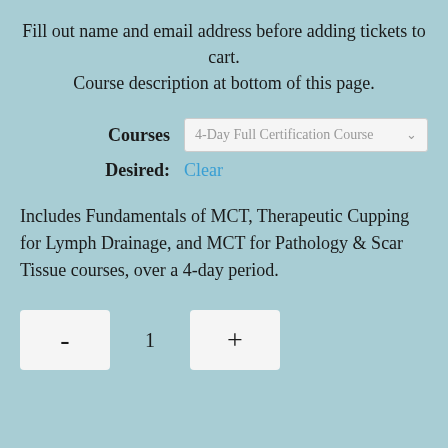Fill out name and email address before adding tickets to cart.
Course description at bottom of this page.
Courses Desired: Clear
[Dropdown: 4-Day Full Certification Course]
Includes Fundamentals of MCT, Therapeutic Cupping for Lymph Drainage, and MCT for Pathology & Scar Tissue courses, over a 4-day period.
- 1 +